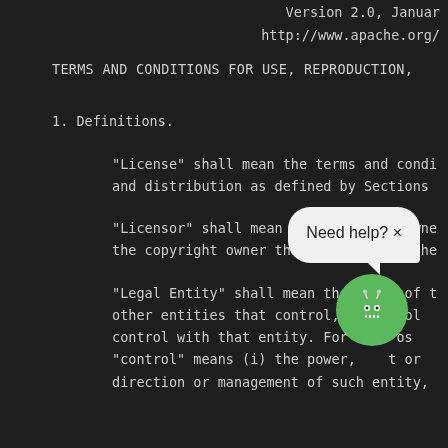Version 2.0, Januar
http://www.apache.org/
TERMS AND CONDITIONS FOR USE, REPRODUCTION,
1. Definitions.
"License" shall mean the terms and condi and distribution as defined by Sections
"Licensor" shall mean the copyright owne the copyright owner that is granting the
"Legal Entity" shall mean the union of t other entities that control, a trol control with that entity. For os "control" means (i) the power, t or direction or management of such entity, otherwise, or (ii) ownership of fifty
[Figure (infographic): Chat widget overlay with 'Need help? x' speech bubble and green robot icon]